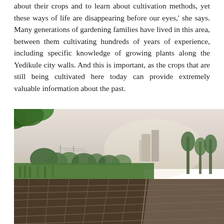about their crops and to learn about cultivation methods, yet these ways of life are disappearing before our eyes,' she says. Many generations of gardening families have lived in this area, between them cultivating hundreds of years of experience, including specific knowledge of growing plants along the Yedikule city walls. And this is important, as the crops that are still being cultivated here today can provide extremely valuable information about the past.
[Figure (photo): Outdoor photograph of urban garden plots in the foreground showing rectangular raised beds of dark soil, with lush green vegetation and trees in the middle ground, and city skyscrapers visible in the hazy background. Tree leaves visible at top-left corner. Warm, hazy light suggesting late afternoon or early morning.]